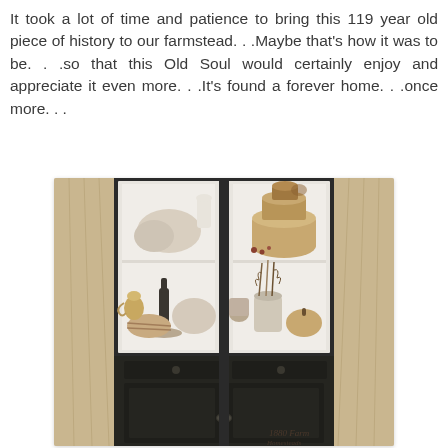It took a lot of time and patience to bring this 119 year old piece of history to our farmstead. . .Maybe that's how it was to be. . .so that this Old Soul would certainly enjoy and appreciate it even more. . .It's found a forever home. . .once more. . .
[Figure (photo): An antique dark painted wooden cabinet/hutch with glass-paned upper doors showing shelves filled with rustic farmhouse items: round bread-dough shaped objects, stacked round wooden hat boxes, a dark bottle, feathers in a crock, small pumpkin, ceramic pitcher. The lower half is a dark painted cabinet with small drawers and doors. Burlap fabric hangs on the sides. A watermark reading '1880 Farm' appears at bottom right.]